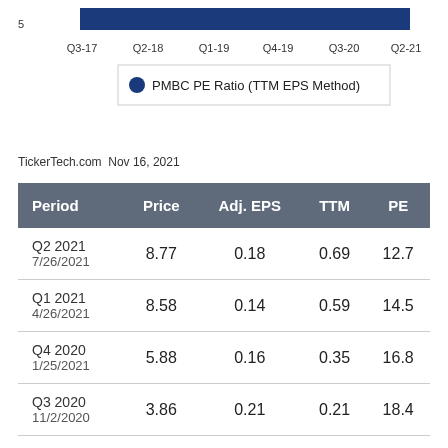[Figure (bar-chart): PMBC PE Ratio (TTM EPS Method)]
TickerTech.com  Nov 16, 2021
| Period | Price | Adj. EPS | TTM | PE |
| --- | --- | --- | --- | --- |
| Q2 2021
7/26/2021 | 8.77 | 0.18 | 0.69 | 12.7 |
| Q1 2021
4/26/2021 | 8.58 | 0.14 | 0.59 | 14.5 |
| Q4 2020
1/25/2021 | 5.88 | 0.16 | 0.35 | 16.8 |
| Q3 2020
11/2/2020 | 3.86 | 0.21 | 0.21 | 18.4 |
| Q2 2020
8/5/2020 | 3.62 | 0.08 | 0.07 | 51.7 |
| Q1 2020 | 4.01 | -0.10 | 0.11 | 36.5 |